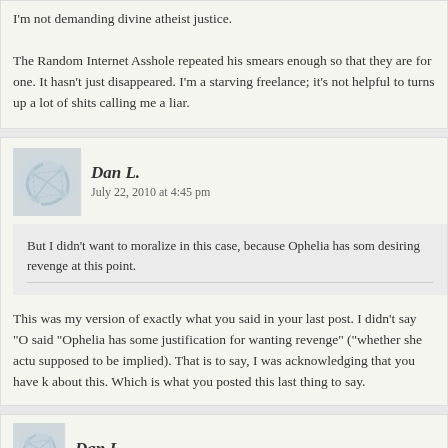I'm not demanding divine atheist justice.

The Random Internet Asshole repeated his smears enough so that they are for one. It hasn't just disappeared. I'm a starving freelance; it's not helpful to turns up a lot of shits calling me a liar.
Dan L.
July 22, 2010 at 4:45 pm
But I didn't want to moralize in this case, because Ophelia has som desiring revenge at this point.
This was my version of exactly what you said in your last post. I didn't say "O said "Ophelia has some justification for wanting revenge" ("whether she actu supposed to be implied). That is to say, I was acknowledging that you have k about this. Which is what you posted this last thing to say.
Dan L.